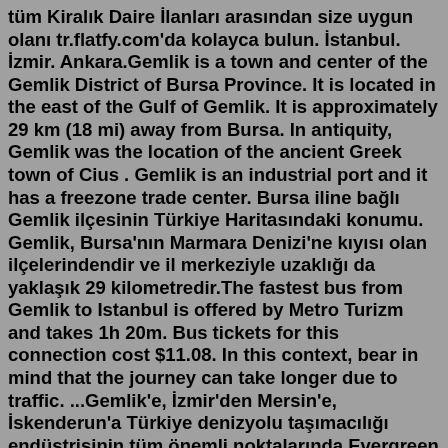tüm Kiralık Daire İlanları arasından size uygun olanı tr.flatfy.com'da kolayca bulun. İstanbul. İzmir. Ankara.Gemlik is a town and center of the Gemlik District of Bursa Province. It is located in the east of the Gulf of Gemlik. It is approximately 29 km (18 mi) away from Bursa. In antiquity, Gemlik was the location of the ancient Greek town of Cius . Gemlik is an industrial port and it has a freezone trade center. Bursa iline bağlı Gemlik ilçesinin Türkiye Haritasındaki konumu. Gemlik, Bursa'nın Marmara Denizi'ne kıyısı olan ilçelerindendir ve il merkeziyle uzaklığı da yaklaşık 29 kilometredir.The fastest bus from Gemlik to Istanbul is offered by Metro Turizm and takes 1h 20m. Bus tickets for this connection cost $11.08. In this context, bear in mind that the journey can take longer due to traffic. ...Gemlik'e, İzmir'den Mersin'e, İskenderun'a Türkiye denizyolu taşımacılığı endüstrisinin tüm önemli noktalarında Evergreen Line'ın denizyolu taşımacılığına yönelik tüm faaliyetlerini İstanbul merkez......biri olan AYDINLAR A.S.1940' lı yıllarda Behcet Aydın (Taşcı